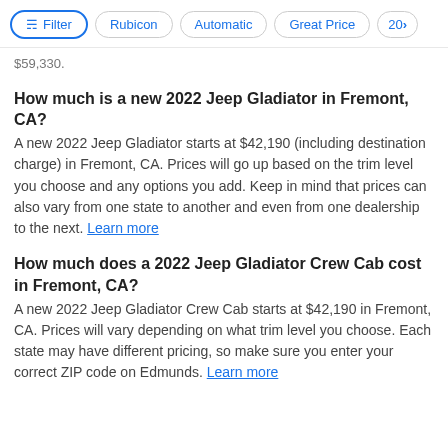Filter | Rubicon | Automatic | Great Price | 20>
$59,330.
How much is a new 2022 Jeep Gladiator in Fremont, CA?
A new 2022 Jeep Gladiator starts at $42,190 (including destination charge) in Fremont, CA. Prices will go up based on the trim level you choose and any options you add. Keep in mind that prices can also vary from one state to another and even from one dealership to the next. Learn more
How much does a 2022 Jeep Gladiator Crew Cab cost in Fremont, CA?
A new 2022 Jeep Gladiator Crew Cab starts at $42,190 in Fremont, CA. Prices will vary depending on what trim level you choose. Each state may have different pricing, so make sure you enter your correct ZIP code on Edmunds. Learn more